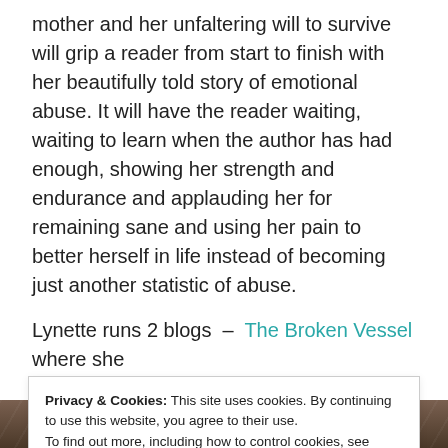mother and her unfaltering will to survive will grip a reader from start to finish with her beautifully told story of emotional abuse. It will have the reader waiting, waiting to learn when the author has had enough, showing her strength and endurance and applauding her for remaining sane and using her pain to better herself in life instead of becoming just another statistic of abuse.
Lynette runs 2 blogs – The Broken Vessel where she
[partially visible line cut off]
Privacy & Cookies: This site uses cookies. By continuing to use this website, you agree to their use. To find out more, including how to control cookies, see here: Cookie Policy
Close and accept
[Figure (photo): Bottom portion of a decorative image showing what appears to be a figure with dark hair against an ornate background with swirling patterns.]